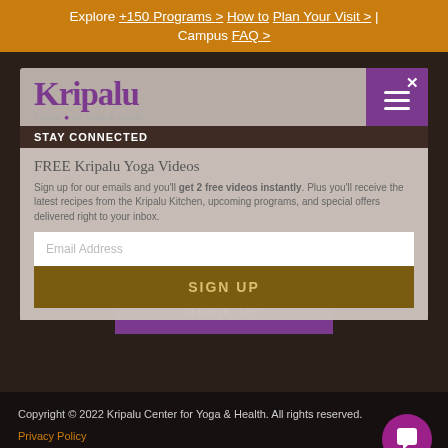Explore +150 Programs > How to Plan Your Visit > | Campus FAQ >
[Figure (screenshot): Kripalu Center for Yoga & Health website screenshot showing a modal popup with 'FREE Kripalu Yoga Videos' offer, email signup form, SIGN UP button, and STAY CONNECTED section over a dark background]
Copyright © 2022 Kripalu Center for Yoga & Health. All rights reserved.
Privacy Policy
Website Terms of Use